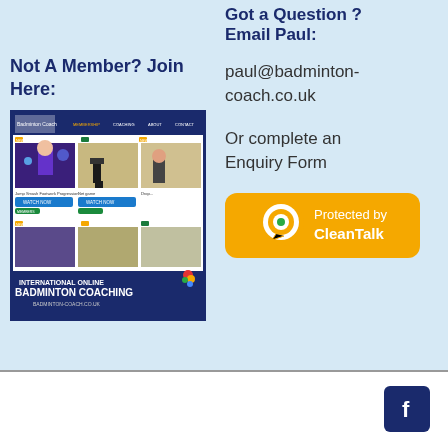Not A Member? Join Here:
[Figure (screenshot): Screenshot of International Online Badminton Coaching website (badminton-coach.co.uk) showing video thumbnails and coaching content]
Got a Question ? Email Paul:
paul@badminton-coach.co.uk
Or complete an Enquiry Form
[Figure (logo): CleanTalk anti-spam protection badge with yellow background, showing chat bubble icon and text 'Protected by CleanTalk']
[Figure (logo): Facebook social media icon, dark blue square with white 'f' letter]